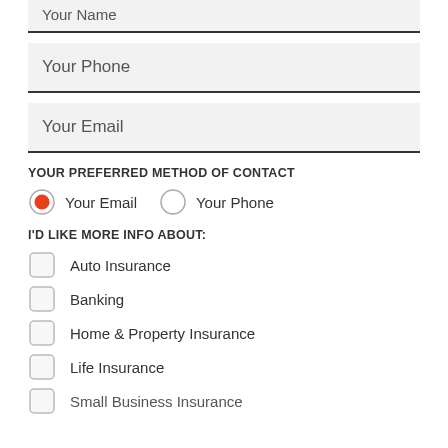Your Name
Your Phone
Your Email
YOUR PREFERRED METHOD OF CONTACT
Your Email (selected radio)
Your Phone (radio)
I'D LIKE MORE INFO ABOUT:
Auto Insurance
Banking
Home & Property Insurance
Life Insurance
Small Business Insurance